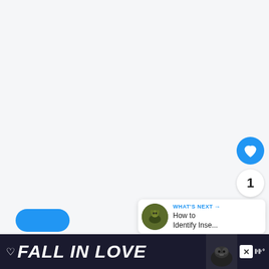[Figure (screenshot): Large white/light grey empty content area (main article or map area), screenshot of a web/app UI]
[Figure (infographic): Blue circular heart/like button with white heart icon]
1
[Figure (infographic): White circular share button with share icon]
[Figure (infographic): WHAT'S NEXT card with thumbnail of insect on leaf, title: How to Identify Inse...]
WHAT'S NEXT → How to Identify Inse...
[Figure (infographic): Blue rounded button at bottom left (partially visible)]
[Figure (infographic): Dark advertisement banner at bottom: heart icon, FALL IN LOVE text, dog photo, close X button, Tidal logo]